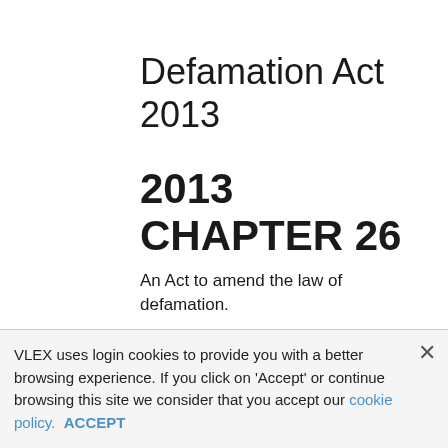Defamation Act 2013
2013 CHAPTER 26
An Act to amend the law of defamation.
[25th April 2013]
Be it enacted by the Queen's most Excellent Majesty, by and with the advice and consent of the Lords Spiritual and Temporal, and Commons, in this present Parliament assembled, and by the authority of the same, as follows:-
Requirement of serious
VLEX uses login cookies to provide you with a better browsing experience. If you click on 'Accept' or continue browsing this site we consider that you accept our cookie policy. ACCEPT